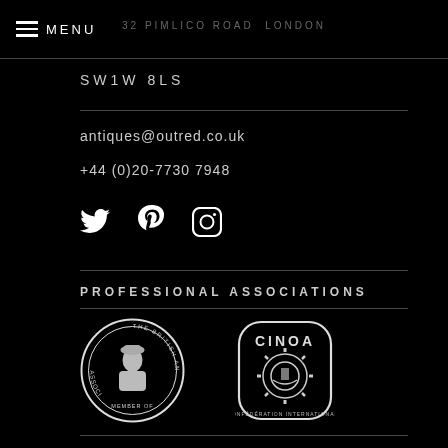MENU | 32 PIMLICO ROAD, LONDON SW1W 8LS
SW1W 8LS
antiques@outred.co.uk
+44 (0)20-7730 7948
[Figure (illustration): Social media icons: Twitter bird, Pinterest P, Instagram camera]
PROFESSIONAL ASSOCIATIONS
[Figure (logo): Two professional association logos: The British Antique Dealers Association (BADA) circular seal with figure, and CINOA rounded square badge with ship/gear imagery]